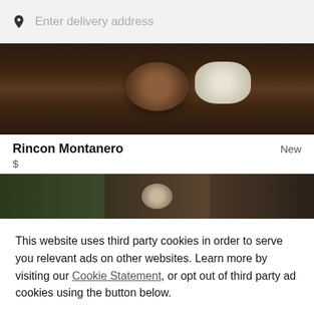Enter delivery address
[Figure (photo): Top-down photo of food bowls on a dark wooden table, dark and moody lighting]
Rincon Montanero
New
$
[Figure (photo): Three-panel cropped photo of food dishes and bowls]
This website uses third party cookies in order to serve you relevant ads on other websites. Learn more by visiting our Cookie Statement, or opt out of third party ad cookies using the button below.
OPT OUT
GOT IT